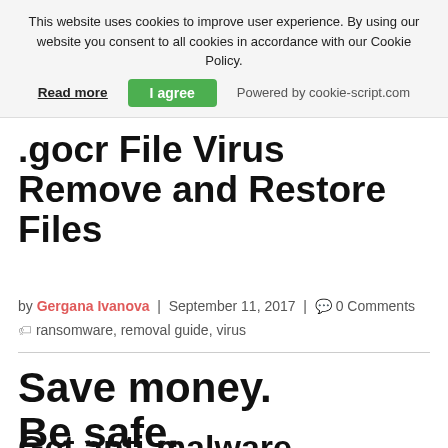This website uses cookies to improve user experience. By using our website you consent to all cookies in accordance with our Cookie Policy.
Read more | I agree | Powered by cookie-script.com
.gocr File Virus Remove and Restore Files
by Gergana Ivanova | September 11, 2017 | 0 Comments  ransomware, removal guide, virus
Save money. Be safe.
Get anti-malware